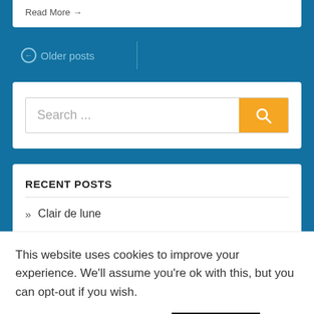Read More →
← Older posts
[Figure (screenshot): Search input box with orange search button containing magnifying glass icon]
RECENT POSTS
» Clair de lune
This website uses cookies to improve your experience. We'll assume you're ok with this, but you can opt-out if you wish.
Cookie settings  ACCEPT